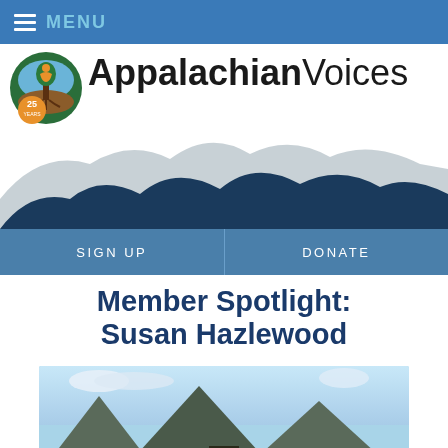MENU
[Figure (logo): Appalachian Voices logo with tree and '25 years' badge, followed by organization name 'AppalachianVoices' in large text, with mountain silhouette illustration below]
SIGN UP | DONATE
Member Spotlight: Susan Hazlewood
[Figure (photo): Photo of mountain peaks under a partly cloudy sky, with a person partially visible at the bottom]